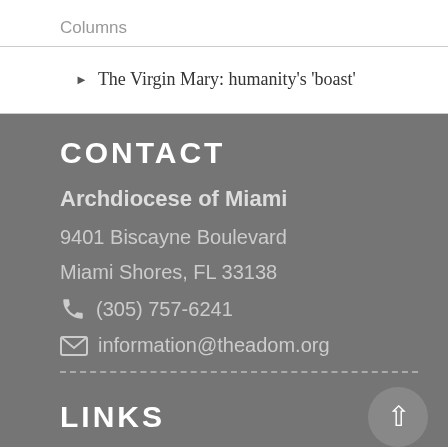Columns
The Virgin Mary: humanity's 'boast'
CONTACT
Archdiocese of Miami
9401 Biscayne Boulevard
Miami Shores, FL 33138
(305) 757-6241
information@theadom.org
LINKS